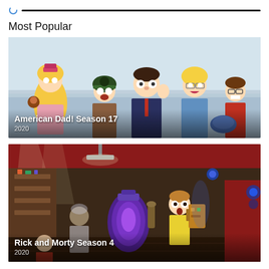Most Popular
[Figure (screenshot): American Dad! Season 17 thumbnail showing animated characters from the show in a colorful group scene]
American Dad! Season 17
2020
[Figure (screenshot): Rick and Morty Season 4 thumbnail showing animated characters in a chaotic sci-fi scene with glowing portal device]
Rick and Morty Season 4
2020